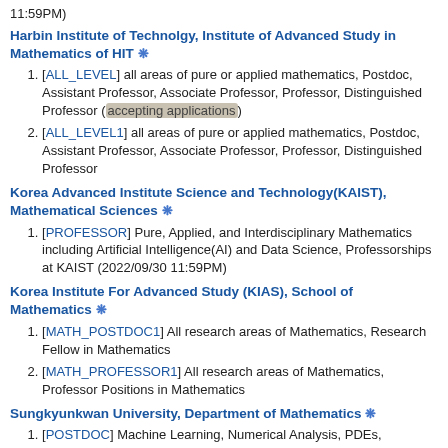11:59PM)
Harbin Institute of Technolgy, Institute of Advanced Study in Mathematics of HIT ❋
[ALL_LEVEL] all areas of pure or applied mathematics, Postdoc, Assistant Professor, Associate Professor, Professor, Distinguished Professor (accepting applications)
[ALL_LEVEL1] all areas of pure or applied mathematics, Postdoc, Assistant Professor, Associate Professor, Professor, Distinguished Professor
Korea Advanced Institute Science and Technology(KAIST), Mathematical Sciences ❋
[PROFESSOR] Pure, Applied, and Interdisciplinary Mathematics including Artificial Intelligence(AI) and Data Science, Professorships at KAIST (2022/09/30 11:59PM)
Korea Institute For Advanced Study (KIAS), School of Mathematics ❋
[MATH_POSTDOC1] All research areas of Mathematics, Research Fellow in Mathematics
[MATH_PROFESSOR1] All research areas of Mathematics, Professor Positions in Mathematics
Sungkyunkwan University, Department of Mathematics ❋
[POSTDOC] Machine Learning, Numerical Analysis, PDEs, Postdoctoral researcher (deadline 2022/06/30 11:59PM)